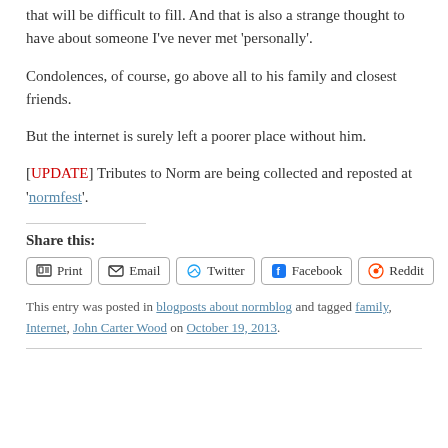that will be difficult to fill. And that is also a strange thought to have about someone I've never met 'personally'.
Condolences, of course, go above all to his family and closest friends.
But the internet is surely left a poorer place without him.
[UPDATE] Tributes to Norm are being collected and reposted at 'normfest'.
Share this:
Print  Email  Twitter  Facebook  Reddit
This entry was posted in blogposts about normblog and tagged family, Internet, John Carter Wood on October 19, 2013.